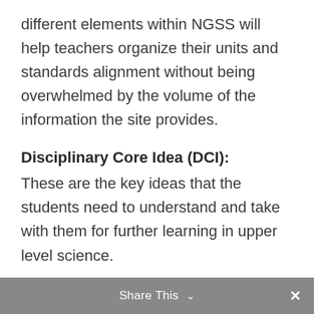different elements within NGSS will help teachers organize their units and standards alignment without being overwhelmed by the volume of the information the site provides.
Disciplinary Core Idea (DCI):
These are the key ideas that the students need to understand and take with them for further learning in upper level science.
'Natural Selection leads to the predominance of certain traits in a
Share This ∨  ✕